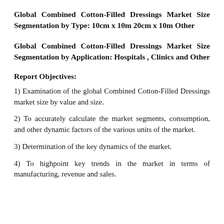Global Combined Cotton-Filled Dressings Market Size Segmentation by Type: 10cm x 10m 20cm x 10m Other
Global Combined Cotton-Filled Dressings Market Size Segmentation by Application: Hospitals , Clinics and Other
Report Objectives:
1) Examination of the global Combined Cotton-Filled Dressings market size by value and size.
2) To accurately calculate the market segments, consumption, and other dynamic factors of the various units of the market.
3) Determination of the key dynamics of the market.
4) To highpoint key trends in the market in terms of manufacturing, revenue and sales.